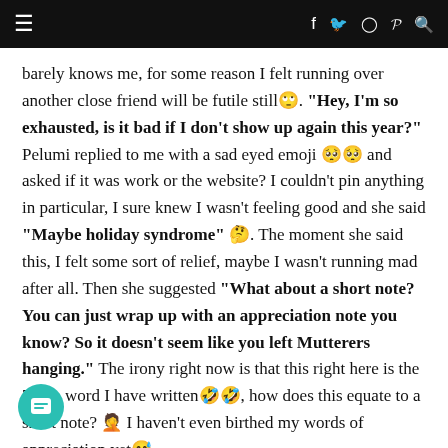≡  f  🐦  ◻  ℗  🔍
barely knows me, for some reason I felt running over another close friend will be futile still🙄. "Hey, I'm so exhausted, is it bad if I don't show up again this year?" Pelumi replied to me with a sad eyed emoji 🥺🥺 and asked if it was work or the website? I couldn't pin anything in particular, I sure knew I wasn't feeling good and she said "Maybe holiday syndrome" 🤔. The moment she said this, I felt some sort of relief, maybe I wasn't running mad after all. Then she suggested "What about a short note? You can just wrap up with an appreciation note you know? So it doesn't seem like you left Mutterers hanging." The irony right now is that this right here is the 776th word I have written🤣🤣, how does this equate to a short note? 🤦 I haven't even birthed my words of appreciation yet😆.